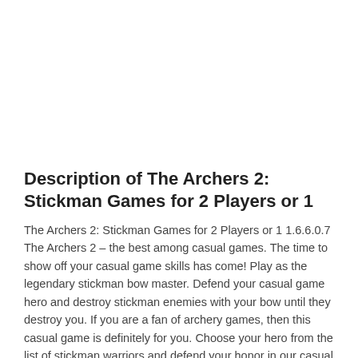Description of The Archers 2: Stickman Games for 2 Players or 1
The Archers 2: Stickman Games for 2 Players or 1 1.6.6.0.7 The Archers 2 – the best among casual games. The time to show off your casual game skills has come! Play as the legendary stickman bow master. Defend your casual game hero and destroy stickman enemies with your bow until they destroy you. If you are a fan of archery games, then this casual game is definitely for you. Choose your hero from the list of stickman warriors and defend your honor in our casual game!
Stickman battle can make a challenging casual game but have no fear! Your archer stickman has a large arsenal of different weapons: bows and arrows, spears, shurikens. Try out all the weapons and